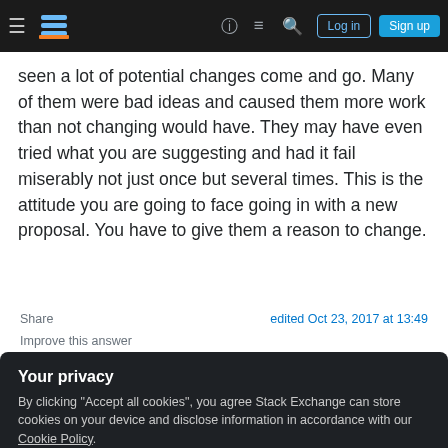Stack Exchange navigation bar with hamburger menu, logo, help, chat, search icons, Log in and Sign up buttons
seen a lot of potential changes come and go. Many of them were bad ideas and caused them more work than not changing would have. They may have even tried what you are suggesting and had it fail miserably not just once but several times. This is the attitude you are going to face going in with a new proposal. You have to give them a reason to change.
Share
edited Oct 23, 2017 at 13:49
Improve this answer
Your privacy
By clicking "Accept all cookies", you agree Stack Exchange can store cookies on your device and disclose information in accordance with our Cookie Policy.
Accept all cookies   Customize settings
important to understand the other person's point of